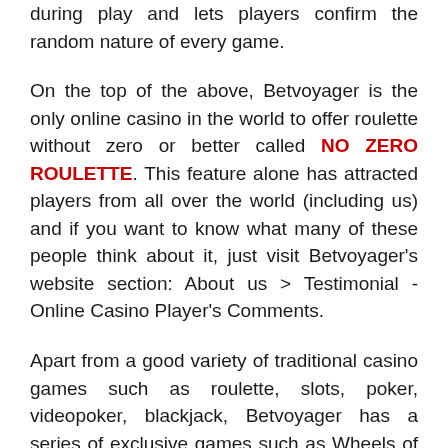during play and lets players confirm the random nature of every game.
On the top of the above, Betvoyager is the only online casino in the world to offer roulette without zero or better called NO ZERO ROULETTE. This feature alone has attracted players from all over the world (including us) and if you want to know what many of these people think about it, just visit Betvoyager's website section: About us > Testimonial - Online Casino Player's Comments.
Apart from a good variety of traditional casino games such as roulette, slots, poker, videopoker, blackjack, Betvoyager has a series of exclusive games such as Wheels of Fortune, Multiball Roulette, Russian Poker, etc.